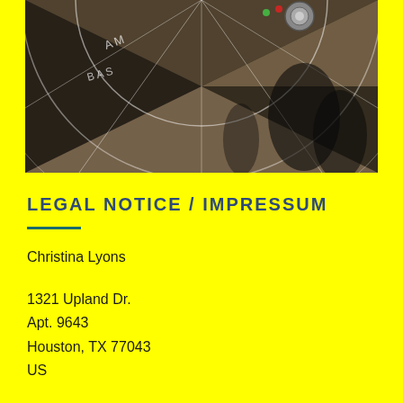[Figure (photo): Overhead photo of a dartboard or circular patterned stone/pavement surface with chalk markings, viewed from above, showing sections and shadows of people]
LEGAL NOTICE / IMPRESSUM
Christina Lyons
1321 Upland Dr.
Apt. 9643
Houston, TX 77043
US